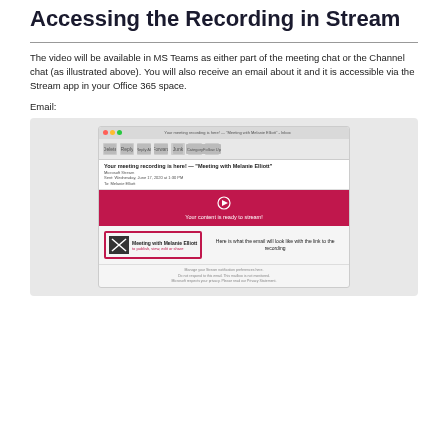Accessing the Recording in Stream
The video will be available in MS Teams as either part of the meeting chat or the Channel chat (as illustrated above). You will also receive an email about it and it is accessible via the Stream app in your Office 365 space.
Email:
[Figure (screenshot): Screenshot of a Microsoft Outlook email notification showing a Stream recording email. The email subject is 'Your meeting recording is here! — Meeting with Melanie Elliott'. It contains a magenta/red Stream banner saying 'Your content is ready to stream!' and shows a recording card for 'Meeting with Melanie Elliott' with options 'to publish, view, edit or share'. An annotation on the right reads 'Here is what the email will look like with the link to the recording'.]